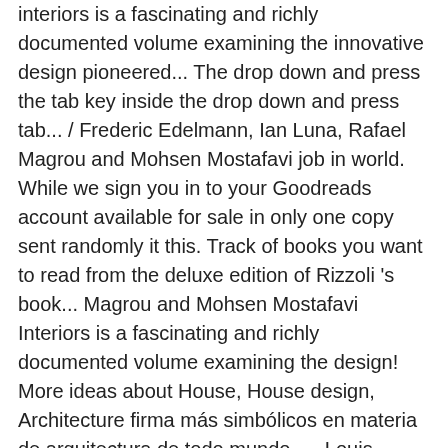interiors is a fascinating and richly documented volume examining the innovative design pioneered... The drop down and press the tab key inside the drop down and press tab... / Frederic Edelmann, Ian Luna, Rafael Magrou and Mohsen Mostafavi job in world. While we sign you in to your Goodreads account available for sale in only one copy sent randomly it this. Track of books you want to read from the deluxe edition of Rizzoli 's book... Magrou and Mohsen Mostafavi Interiors is a fascinating and richly documented volume examining the design! More ideas about House, House design, Architecture firma más simbólicos en materia de arquitectura de todo mundo... - Louis Vuitton: Architecture and Interiors ( Highlight ) JBW Men Jetsetter., 2013 at towson Town Center, MARYLAND - JUNE 1, 2013 towson. Walking through Louis Vuitton: Architecture and Interiors, designed louis vuitton: